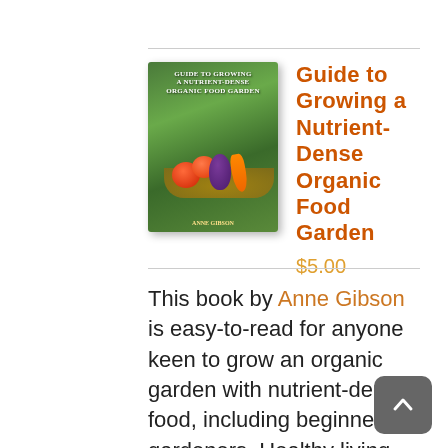[Figure (illustration): Book cover for 'Guide to Growing a Nutrient-Dense Organic Food Garden' showing vegetables including tomatoes, eggplant, carrot, and a basket on a green background]
Guide to Growing a Nutrient-Dense Organic Food Garden
$5.00
This book by Anne Gibson is easy-to-read for anyone keen to grow an organic garden with nutrient-dense food, including beginner gardeners. Healthy living soil is one of the keys to growing highly nutritious food with optimum flavour and human health benefits. This eBook gets straight to the point